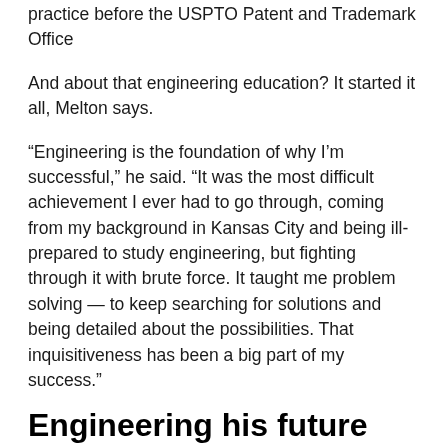practice before the USPTO Patent and Trademark Office
And about that engineering education? It started it all, Melton says.
“Engineering is the foundation of why I’m successful,” he said. “It was the most difficult achievement I ever had to go through, coming from my background in Kansas City and being ill-prepared to study engineering, but fighting through it with brute force. It taught me problem solving — to keep searching for solutions and being detailed about the possibilities. That inquisitiveness has been a big part of my success.”
Engineering his future
Melton’s journey from Kansas City to Mizzou was a bumpy one. He knew he was interested in engineering because of his curious nature. However, he didn’t have